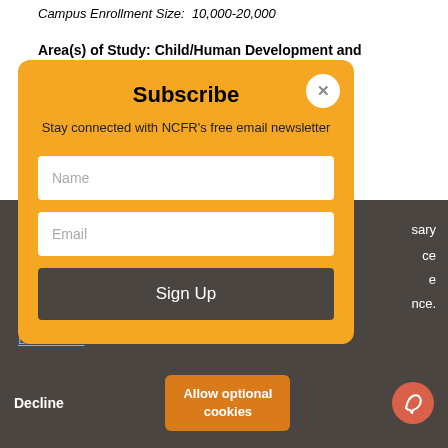Campus Enrollment Size: 10,000-20,000
Area(s) of Study: Child/Human Development and
[Figure (screenshot): Subscribe modal popup with golden/amber background. Contains title 'Subscribe', subtitle 'Stay connected with NCFR's free email newsletter', Name input field, Email input field, and 'Sign Up' button in dark grey. A white circular close (X) button in top right corner.]
sary
ce
e
nce.
Learn more
Decline
Allow optional cookies